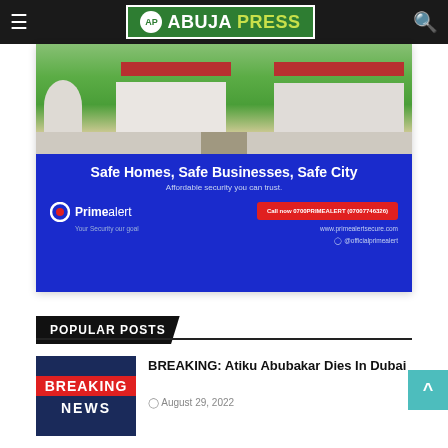AbujaPress
[Figure (photo): Primealert advertisement: aerial photo of buildings with green lawn above blue panel reading 'Safe Homes, Safe Businesses, Safe City. Affordable security you can trust.' with Primealert logo and call-to-action button.]
POPULAR POSTS
[Figure (photo): Breaking News thumbnail image with red BREAKING label and dark blue NEWS text]
BREAKING: Atiku Abubakar Dies In Dubai
August 29, 2022